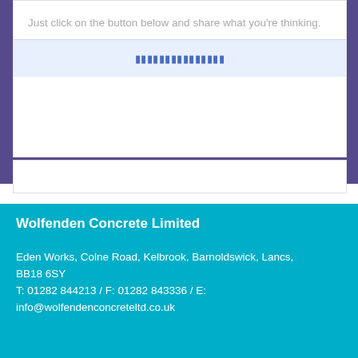Just click on the button below and share what you're thinking.
[Figure (screenshot): Light blue button area with obscured/blurred button text]
Wolfenden Concrete Limited
Eden Works, Colne Road, Kelbrook, Barnoldswick, Lancs, BB18 6SY
T: 01282 844213 / F: 01282 843336 / E: info@wolfendenconcreteltd.co.uk